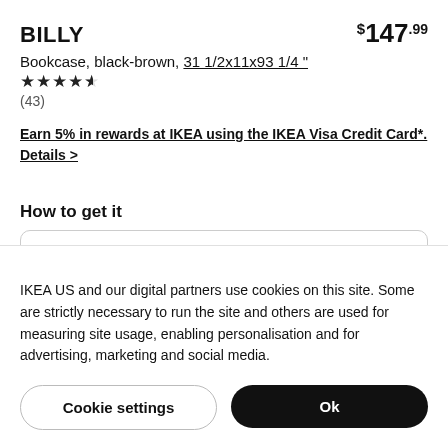BILLY
$147.99
Bookcase, black-brown, 31 1/2x11x93 1/4 "
★★★★½ (43)
Earn 5% in rewards at IKEA using the IKEA Visa Credit Card*. Details >
How to get it
Delivery >
IKEA US and our digital partners use cookies on this site. Some are strictly necessary to run the site and others are used for measuring site usage, enabling personalisation and for advertising, marketing and social media.
Cookie settings
Ok